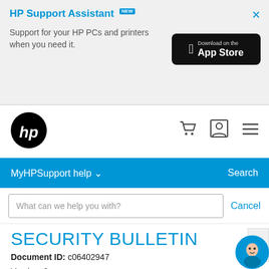[Figure (screenshot): HP Support Assistant promotional banner with 'NEW' badge, App Store download button, and close (X) button on a light gray background]
[Figure (logo): HP logo (black circle with hp letters in white)]
[Figure (screenshot): Navigation icons: shopping cart, user account, and hamburger menu]
MyHPSupport help
Search
What can we help you with?
Cancel
SECURITY BULLETIN
Document ID: c06402947
Version: 2
HPSBHF03621 rev.2 - Intel USB